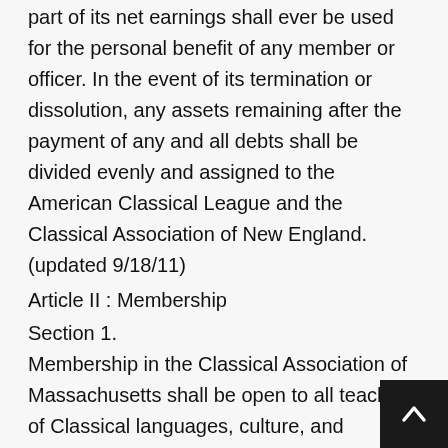part of its net earnings shall ever be used for the personal benefit of any member or officer. In the event of its termination or dissolution, any assets remaining after the payment of any and all debts shall be divided evenly and assigned to the American Classical League and the Classical Association of New England. (updated 9/18/11)
Article II : Membership
Section 1.
Membership in the Classical Association of Massachusetts shall be open to all teachers of Classical languages, culture, and civilizations and to all others who support the purposes of the Association. Membership shall be conveyed upon payment of the regular membership dues as specified in the bylaws.